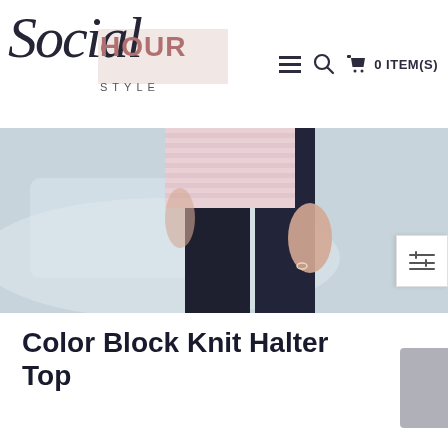Social Hour Style — 0 ITEM(S)
[Figure (photo): Partial photo of a person wearing a striped pink top and dark pants, shown from mid-torso down, with a light blue/grey blurred background.]
Color Block Knit Halter Top